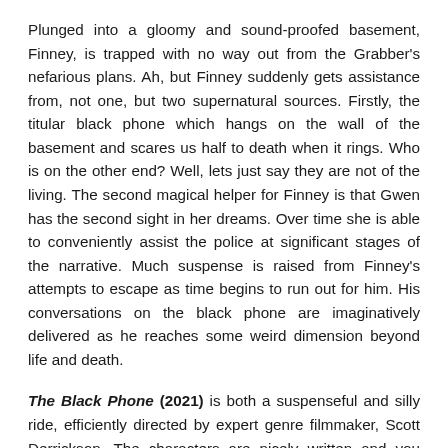Plunged into a gloomy and sound-proofed basement, Finney, is trapped with no way out from the Grabber's nefarious plans. Ah, but Finney suddenly gets assistance from, not one, but two supernatural sources. Firstly, the titular black phone which hangs on the wall of the basement and scares us half to death when it rings. Who is on the other end? Well, lets just say they are not of the living. The second magical helper for Finney is that Gwen has the second sight in her dreams. Over time she is able to conveniently assist the police at significant stages of the narrative. Much suspense is raised from Finney's attempts to escape as time begins to run out for him. His conversations on the black phone are imaginatively delivered as he reaches some weird dimension beyond life and death.
The Black Phone (2021) is both a suspenseful and silly ride, efficiently directed by expert genre filmmaker, Scott Derrickson. The characters are nicely written and you really root for them as the kids deal with all manner of terror. Themes relating to sibling community, stranger-danger, and sticking up